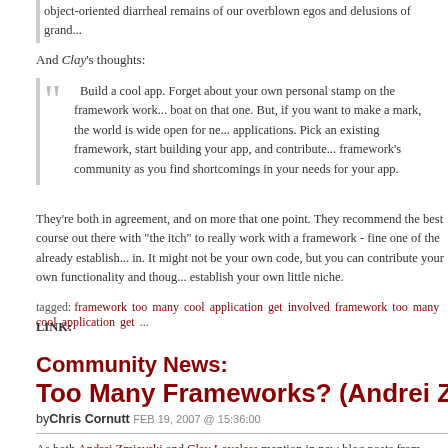object-oriented diarrheal remains of our overblown egos and delusions of grand...
And Clay's thoughts:
Build a cool app. Forget about your own personal stamp on the framework work... boat on that one. But, if you want to make a mark, the world is wide open for ne... applications. Pick an existing framework, start building your app, and contribute... framework's community as you find shortcomings in your needs for your app.
They're both in agreement, and on more that one point. They recommend the best course out there with "the itch" to really work with a framework - fine one of the already establish... in. It might not be your own code, but you can contribute your own functionality and thoug... establish your own little niche.
tagged: framework too many cool application get involved framework too many cool application get ...
LINK:
Community News:
Too Many Frameworks? (Andrei Zmievski and Clay Lo...
by Chris Cornutt FEB 19, 2007 @ 15:36:00
As both Andrei Zmievski and Clay Loveless mention in new blog posts from each, things...